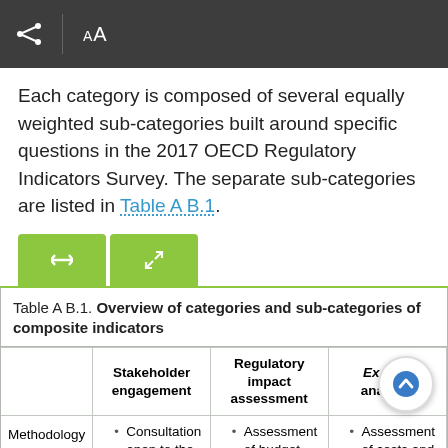toolbar with share and AA icons
Each category is composed of several equally weighted sub-categories built around specific questions in the 2017 OECD Regulatory Indicators Survey. The separate sub-categories are listed in Table A B.1.
Table A B.1. Overview of categories and sub-categories of composite indicators
|  | Stakeholder engagement | Regulatory impact assessment | Ex post analysis |
| --- | --- | --- | --- |
| Methodology | • Consultation open to the general public: during early stages of developing regulations
• Consultation | • Assessment of budget and public sector impacts
• Assessment of competition impacts
• Assessment of | • Assessment of costs and benefits
• Assessment of achievement of goals
• Assessment of impacts |